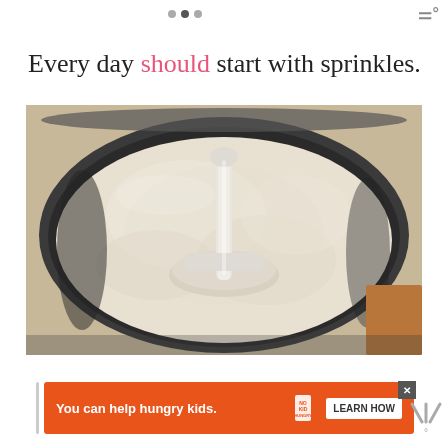• • • [logo dots and brand icon]
Every day should start with sprinkles.
[Figure (photo): A food processor bowl filled with white/cream powdery mixture (likely flour or ground coconut/oats), with a central spindle attachment visible from above. The bowl has dark/grey plastic sides.]
You can help hungry kids. NO KID HUNGRY LEARN HOW